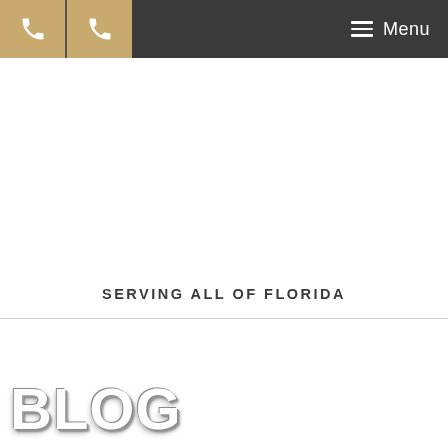Menu
SERVING ALL OF FLORIDA
BLOG